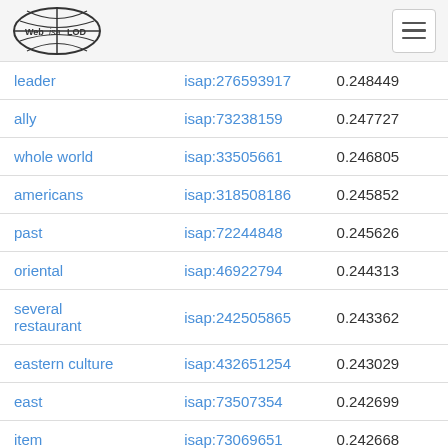Web isa LOD [logo] [menu button]
| leader | isap:276593917 | 0.248449 |
| ally | isap:73238159 | 0.247727 |
| whole world | isap:33505661 | 0.246805 |
| americans | isap:318508186 | 0.245852 |
| past | isap:72244848 | 0.245626 |
| oriental | isap:46922794 | 0.244313 |
| several restaurant | isap:242505865 | 0.243362 |
| eastern culture | isap:432651254 | 0.243029 |
| east | isap:73507354 | 0.242699 |
| item | isap:73069651 | 0.242668 |
| money | isap:32726721 | 0.242648 |